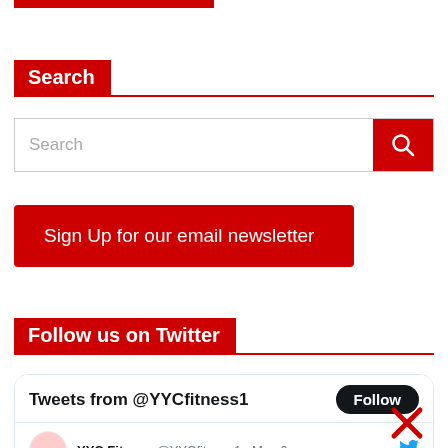[Figure (screenshot): Partial red button/bar at top of page, cut off]
Search
[Figure (screenshot): Search input box with red search button icon on right]
Sign Up for our email newsletter
Follow us on Twitter
[Figure (screenshot): Twitter widget showing Tweets from @YYCfitness1 with Follow button, YYC Fitness @YYCfitness1 · May 6]